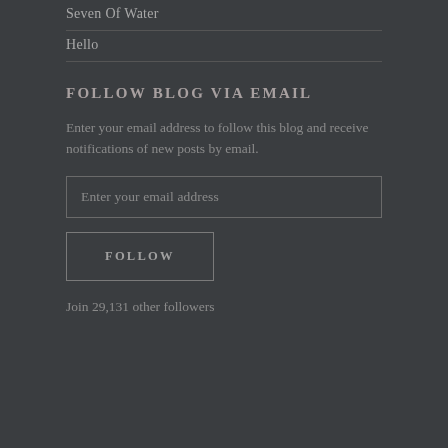Seven Of Water
Hello
FOLLOW BLOG VIA EMAIL
Enter your email address to follow this blog and receive notifications of new posts by email.
Enter your email address
FOLLOW
Join 29,131 other followers